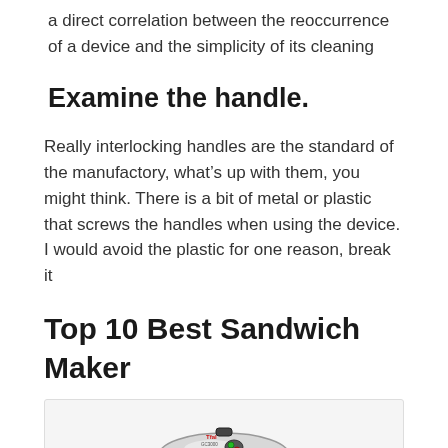a direct correlation between the reoccurrence of a device and the simplicity of its cleaning
Examine the handle.
Really interlocking handles are the standard of the manufactory, what’s up with them, you might think. There is a bit of metal or plastic that screws the handles when using the device. I would avoid the plastic for one reason, break it
Top 10 Best Sandwich Maker
[Figure (photo): Photo of a T-fal sandwich maker with a silver/chrome body, black handles, and red and green indicator lights on top.]